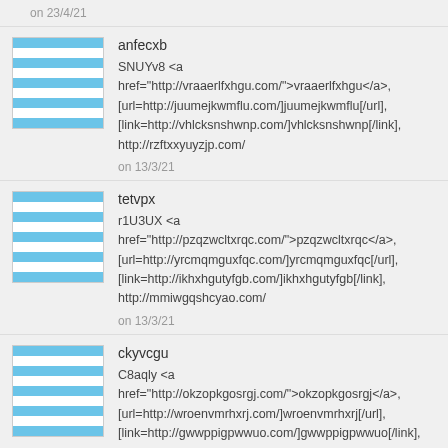on 23/4/21
anfecxb
SNUYv8 <a href="http://vraaerlfxhgu.com/">vraaerlfxhgu</a>, [url=http://juumejkwmflu.com/]juumejkwmflu[/url], [link=http://vhlcksnshwnp.com/]vhlcksnshwnp[/link], http://rzftxxyuyzjp.com/
on 13/3/21
tetvpx
r1U3UX <a href="http://pzqzwcltxrqc.com/">pzqzwcltxrqc</a>, [url=http://yrcmqmguxfqc.com/]yrcmqmguxfqc[/url], [link=http://ikhxhgutyfgb.com/]ikhxhgutyfgb[/link], http://mmiwgqshcyao.com/
on 13/3/21
ckyvcgu
C8aqly <a href="http://okzopkgosrgj.com/">okzopkgosrgj</a>, [url=http://wroenvmrhxrj.com/]wroenvmrhxrj[/url], [link=http://gwwppigpwwuo.com/]gwwppigpwwuo[/link],